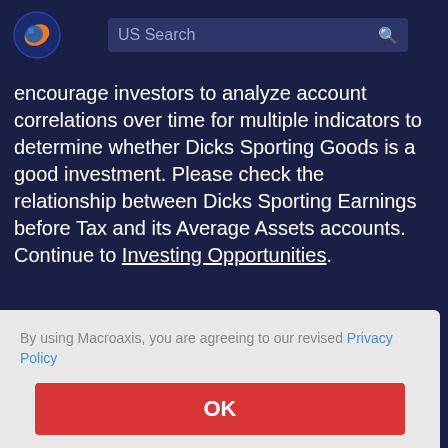[Figure (logo): Macroaxis globe logo with orange and blue colors]
US Search
encourage investors to analyze account correlations over time for multiple indicators to determine whether Dicks Sporting Goods is a good investment. Please check the relationship between Dicks Sporting Earnings before Tax and its Average Assets accounts. Continue to Investing Opportunities.
By using Macroaxis, you are agreeing to our revised Privacy Policy
OK